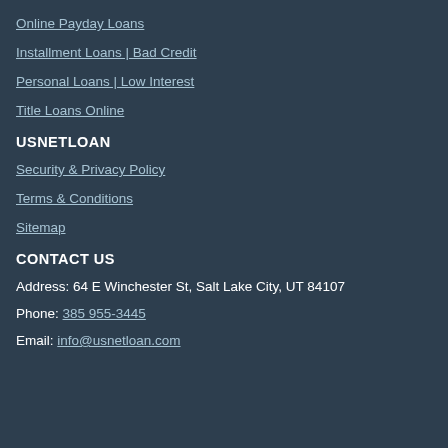Online Payday Loans
Installment Loans | Bad Credit
Personal Loans | Low Interest
Title Loans Online
USNETLOAN
Security & Privacy Policy
Terms & Conditions
Sitemap
CONTACT US
Address: 64 E Winchester St, Salt Lake City, UT 84107
Phone: 385 955-3445
Email: info@usnetloan.com